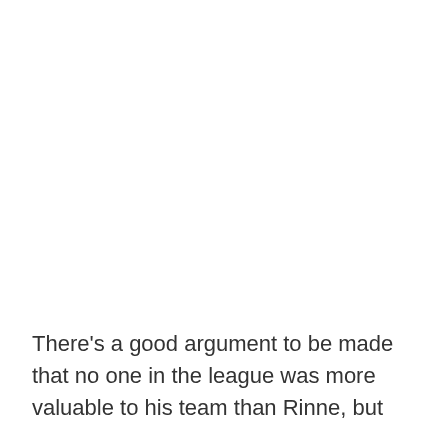There's a good argument to be made that no one in the league was more valuable to his team than Rinne, but